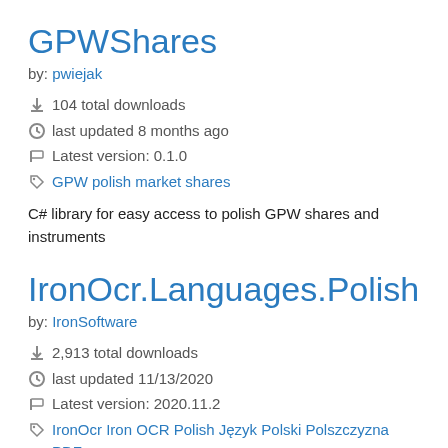GPWShares
by: pwiejak
104 total downloads
last updated 8 months ago
Latest version: 0.1.0
GPW polish market shares
C# library for easy access to polish GPW shares and instruments
IronOcr.Languages.Polish
by: IronSoftware
2,913 total downloads
last updated 11/13/2020
Latest version: 2020.11.2
IronOcr Iron OCR Polish Język Polski Polszczyzna PDF Text Image More tags
The IronOCR engine adds OCR (Optical Character Recognition) functionality to Web, Desktop, and Console